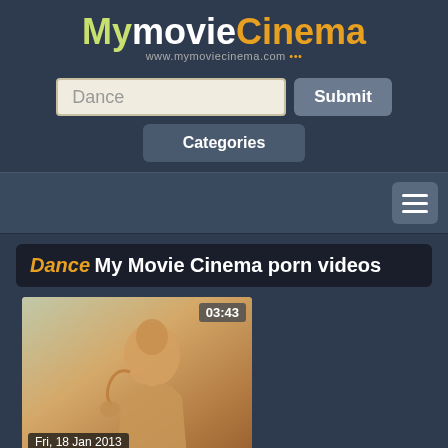My movie Cinema - www.mymoviecinema.com
Dance [search input]
Submit
Categories
Dance My Movie Cinema porn videos
[Figure (screenshot): Video thumbnail showing a person, duration 03:43, dated Fri, 18 Jan 2013]